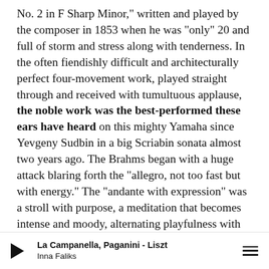No. 2 in F Sharp Minor," written and played by the composer in 1853 when he was "only" 20 and full of storm and stress along with tenderness. In the often fiendishly difficult and architecturally perfect four-movement work, played straight through and received with tumultuous applause, the noble work was the best-performed these ears have heard on this mighty Yamaha since Yevgeny Sudbin in a big Scriabin sonata almost two years ago. The Brahms began with a huge attack blaring forth the "allegro, not too fast but with energy." The "andante with expression" was a stroll with purpose, a meditation that becomes intense and moody, alternating playfulness with severity, then lushness – typical of Brahms, and with Faliks sitting, as usual, with her face right over the keys, as expressive as the notes she was playing. The moving Scherzo was hardly a musical
La Campanella, Paganini - Liszt | Inna Faliks